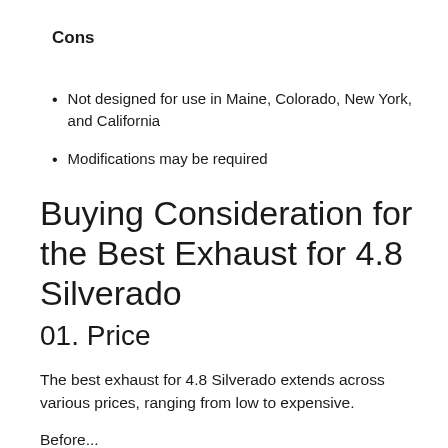Cons
Not designed for use in Maine, Colorado, New York, and California
Modifications may be required
Buying Consideration for the Best Exhaust for 4.8 Silverado
01. Price
The best exhaust for 4.8 Silverado extends across various prices, ranging from low to expensive.
Before...